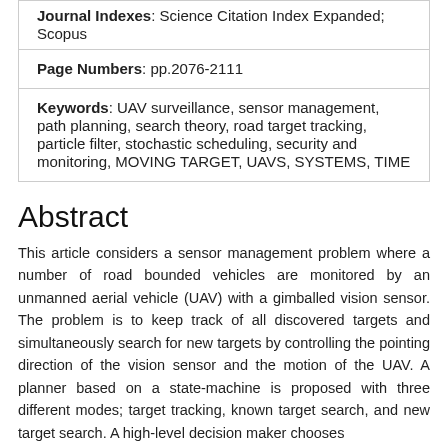Journal Indexes: Science Citation Index Expanded; Scopus
Page Numbers: pp.2076-2111
Keywords: UAV surveillance, sensor management, path planning, search theory, road target tracking, particle filter, stochastic scheduling, security and monitoring, MOVING TARGET, UAVS, SYSTEMS, TIME
Abstract
This article considers a sensor management problem where a number of road bounded vehicles are monitored by an unmanned aerial vehicle (UAV) with a gimballed vision sensor. The problem is to keep track of all discovered targets and simultaneously search for new targets by controlling the pointing direction of the vision sensor and the motion of the UAV. A planner based on a state-machine is proposed with three different modes; target tracking, known target search, and new target search. A high-level decision maker chooses